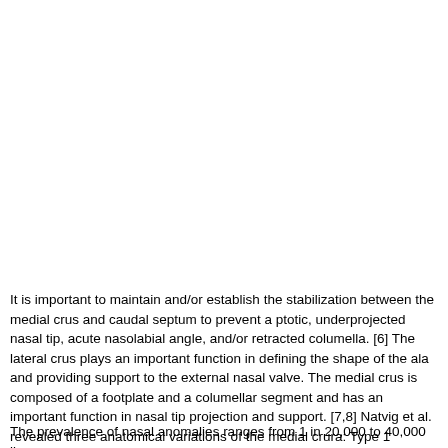It is important to maintain and/or establish the stabilization between the medial crus and caudal septum to prevent a ptotic, underprojected nasal tip, acute nasolabial angle, and/or retracted columella. [6] The lateral crus plays an important function in defining the shape of the ala and providing support to the external nasal valve. The medial crus is composed of a footplate and a columellar segment and has an important function in nasal tip projection and support. [7,8] Natvig et al. revealed three anatomical variations of the medial crura: Type 1 (asymmetric parallel - 75%), Type 2 (flared symmetric - 12.5%), and Type 3 (straight symmetric - 12.5%). [9]
The prevalence of nasal anomalies ranges from 1 in 20,000 to 40,000 live